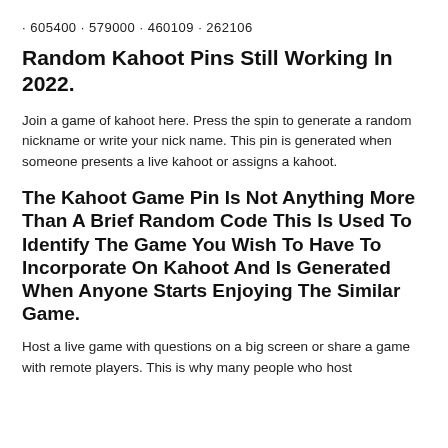· 605400 · 579000 · 460109 · 262106
Random Kahoot Pins Still Working In 2022.
Join a game of kahoot here. Press the spin to generate a random nickname or write your nick name. This pin is generated when someone presents a live kahoot or assigns a kahoot.
The Kahoot Game Pin Is Not Anything More Than A Brief Random Code This Is Used To Identify The Game You Wish To Have To Incorporate On Kahoot And Is Generated When Anyone Starts Enjoying The Similar Game.
Host a live game with questions on a big screen or share a game with remote players. This is why many people who host